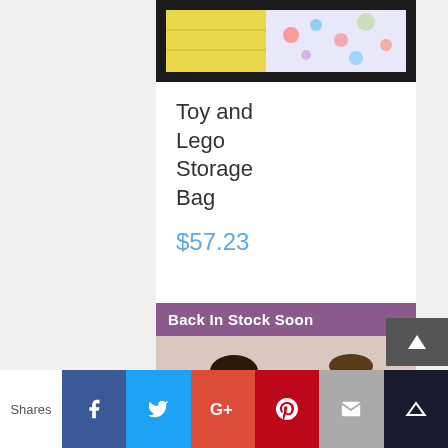[Figure (photo): Top portion of a toy and lego storage bag product image showing colorful fabric with paw patrol print and yellow padding visible]
Toy and Lego Storage Bag
$57.23
Details
[Figure (photo): Two children, a girl in pink and a boy, playing together at a table. Banner reads Back In Stock Soon.]
Shares  [Facebook] [Twitter] [Google+] [Pinterest] [Email] [Crown]